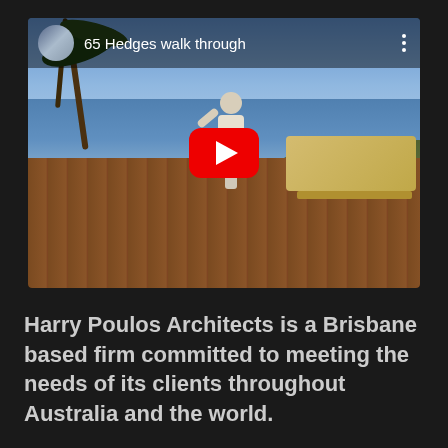[Figure (screenshot): YouTube video thumbnail/player showing '65 Hedges walk through' — a beachfront property walkthrough video with a person waving on a timber deck, palm trees, ocean in background, lounge chairs to the right. YouTube play button centered. Channel thumbnail in top-left corner with title text and three-dot menu.]
Harry Poulos Architects is a Brisbane based firm committed to meeting the needs of its clients throughout Australia and the world.
Dedicated to providing a quality design-driven